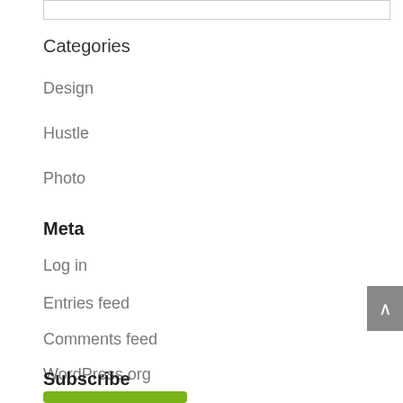Categories
Design
Hustle
Photo
Meta
Log in
Entries feed
Comments feed
WordPress.org
Subscribe